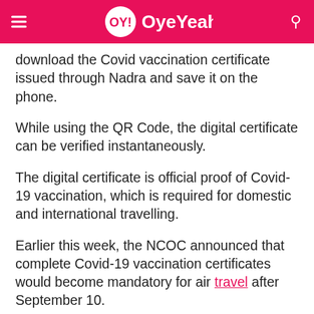OY! OyeYeah!
download the Covid vaccination certificate issued through Nadra and save it on the phone.
While using the QR Code, the digital certificate can be verified instantaneously.
The digital certificate is official proof of Covid-19 vaccination, which is required for domestic and international travelling.
Earlier this week, the NCOC announced that complete Covid-19 vaccination certificates would become mandatory for air travel after September 10.